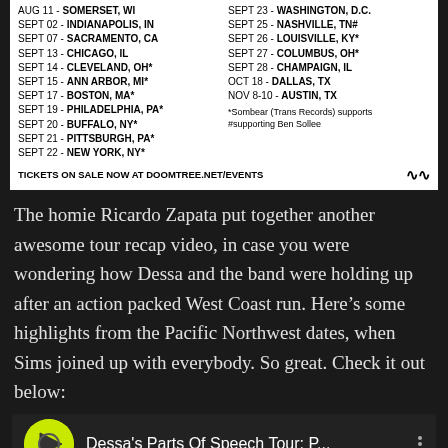[Figure (other): Tour dates flyer listing cities and dates for a Dessa / Doomtree tour, with footnote about Sombear support and tickets link to DOOMTREE.NET/EVENTS]
The homie Ricardo Zapata put together another awesome tour recap video, in case you were wondering how Dessa and the band were holding up after an action packed West Coast run. Here's some highlights from the Pacific Northwest dates, when Sims joined up with everybody. So great. Check it out below:
[Figure (screenshot): YouTube video thumbnail for 'Dessa's Parts Of Speech Tour: P...' with YouTube logo circle in green and three-dot menu icon]